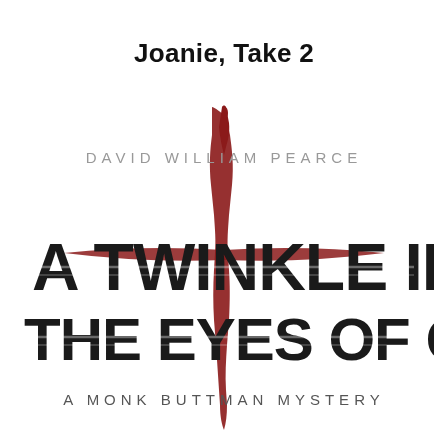Joanie, Take 2
[Figure (illustration): Book cover for 'A Twinkle in the Eyes of God: A Monk Buttman Mystery' by David William Pearce, featuring a dark red cross shape made of paint strokes with bold distressed typography overlaid.]